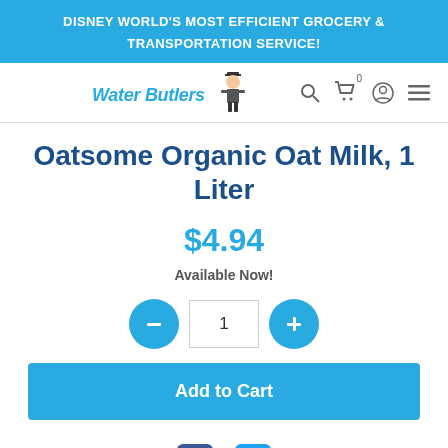DISNEY WORLD'S MOST EFFICIENT GROCERY & TRANSPORTATION SERVICE!
[Figure (logo): Water Butlers logo with stylized text and butler mascot figure in top hat]
Oatsome Organic Oat Milk, 1 Liter
$4.94
Available Now!
1
Add to Cart
[Figure (illustration): Facebook and Twitter social media icons]